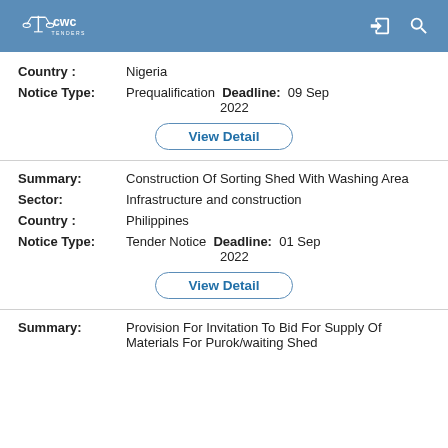CWC Tenders
Country : Nigeria
Notice Type: Prequalification  Deadline: 09 Sep 2022
View Detail
Summary: Construction Of Sorting Shed With Washing Area
Sector: Infrastructure and construction
Country : Philippines
Notice Type: Tender Notice  Deadline: 01 Sep 2022
View Detail
Summary: Provision For Invitation To Bid For Supply Of Materials For Purok/waiting Shed